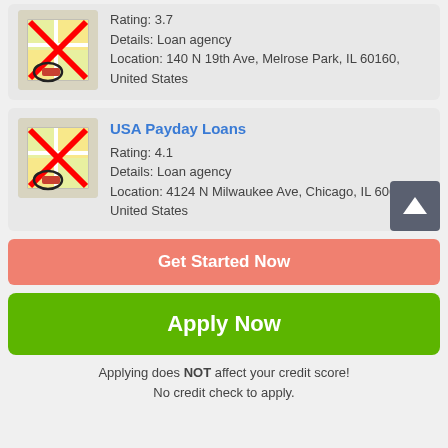[Figure (screenshot): Map thumbnail with red X overlay for first loan agency listing]
Rating: 3.7
Details: Loan agency
Location: 140 N 19th Ave, Melrose Park, IL 60160, United States
[Figure (screenshot): Map thumbnail with red X overlay for USA Payday Loans listing]
USA Payday Loans
Rating: 4.1
Details: Loan agency
Location: 4124 N Milwaukee Ave, Chicago, IL 60641, United States
Get Started Now
Apply Now
Applying does NOT affect your credit score!
No credit check to apply.